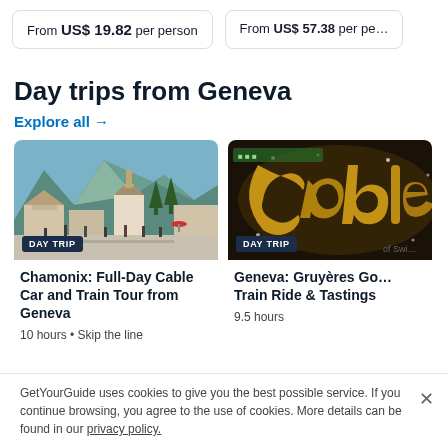From US$ 19.82 per person
From US$ 57.38 per pe…
Day trips from Geneva
Explore all →
[Figure (photo): Chamonix town square with church and mountains in background, people walking]
DAY TRIP
Chamonix: Full-Day Cable Car and Train Tour from Geneva
10 hours • Skip the line
[Figure (photo): Gruyères gold sign on dark background partially visible]
DAY TRIP
Geneva: Gruyères Go… Train Ride & Tastings
9.5 hours
GetYourGuide uses cookies to give you the best possible service. If you continue browsing, you agree to the use of cookies. More details can be found in our privacy policy.